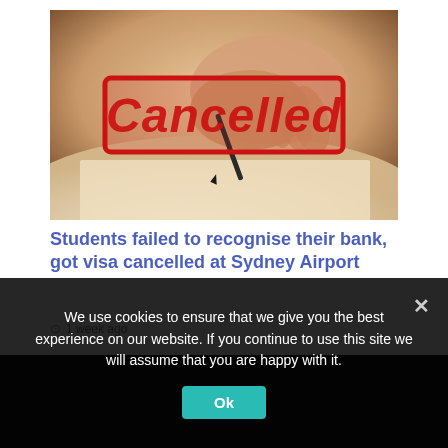[Figure (photo): Close-up photo of a hand holding a pen over a document, with a large red 'Cancelled' stamp overlaid prominently in the center of the image]
Students failed to recognise their bank, got visa cancelled at Sydney Airport
1 week ago
We use cookies to ensure that we give you the best experience on our website. If you continue to use this site we will assume that you are happy with it.